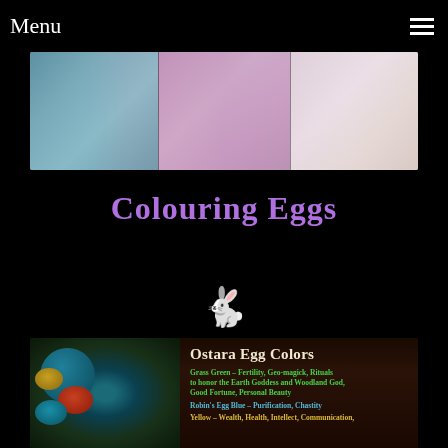Menu
[Figure (photo): Banner image showing Easter eggs and decorations: blue speckled eggs on left, floral decorated eggs in center, white bunny and floral fabric on right]
Colouring Eggs
[Figure (illustration): Small white bunny emoji/icon]
[Figure (infographic): Ostara Egg Colors infographic on dark wood background showing colorful eggs in a nest. Text lists: Grass Green - Fertility, Geo-magick, Rituals to honor the Earth Goddess and Woodland God, Good Fortune, Personal Beauty; Robin's Egg Blue - Purification, Chastity; Yellow - Wealth, Health, Intellect, Communication]